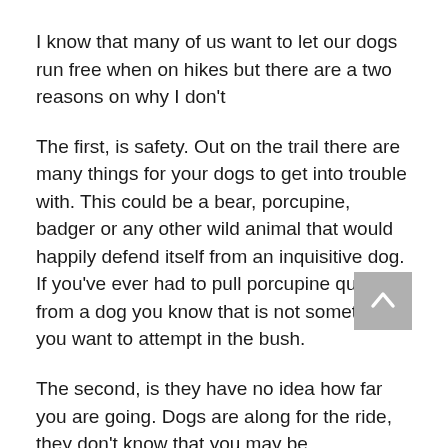I know that many of us want to let our dogs run free when on hikes but there are a two reasons on why I don't
The first, is safety. Out on the trail there are many things for your dogs to get into trouble with. This could be a bear, porcupine, badger or any other wild animal that would happily defend itself from an inquisitive dog. If you've ever had to pull porcupine quills from a dog you know that is not something you want to attempt in the bush.
The second, is they have no idea how far you are going. Dogs are along for the ride, they don't know that you may be